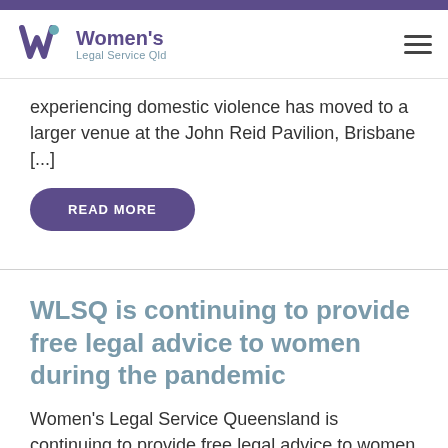Women's Legal Service Qld
experiencing domestic violence has moved to a larger venue at the John Reid Pavilion, Brisbane [...]
READ MORE
WLSQ is continuing to provide free legal advice to women during the pandemic
Women's Legal Service Queensland is continuing to provide free legal advice to women with domestic violence, family law, child protection and some sexual